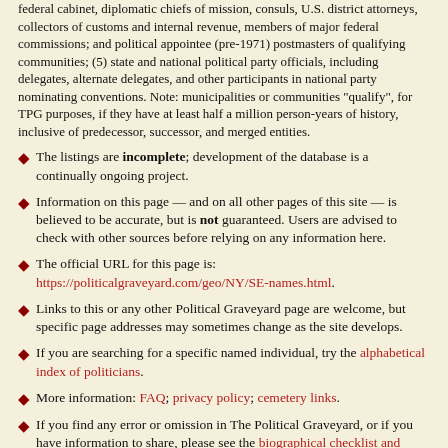federal cabinet, diplomatic chiefs of mission, consuls, U.S. district attorneys, collectors of customs and internal revenue, members of major federal commissions; and political appointee (pre-1971) postmasters of qualifying communities; (5) state and national political party officials, including delegates, alternate delegates, and other participants in national party nominating conventions. Note: municipalities or communities "qualify", for TPG purposes, if they have at least half a million person-years of history, inclusive of predecessor, successor, and merged entities.
The listings are incomplete; development of the database is a continually ongoing project.
Information on this page — and on all other pages of this site — is believed to be accurate, but is not guaranteed. Users are advised to check with other sources before relying on any information here.
The official URL for this page is: https://politicalgraveyard.com/geo/NY/SE-names.html.
Links to this or any other Political Graveyard page are welcome, but specific page addresses may sometimes change as the site develops.
If you are searching for a specific named individual, try the alphabetical index of politicians.
More information: FAQ; privacy policy; cemetery links.
If you find any error or omission in The Political Graveyard, or if you have information to share, please see the biographical checklist and submission guidelines.
Copyright notices: (1) Facts are not subject to copyright; see Feist v. Rural Telephone. (2) Politician portraits displayed on this site are 70-pixel-wide monochrome thumbnail images, which I believe to constitute fair use under applicable copyright law. Where possible, each image is linked to its online source. However, requests from owners of copyrighted images to delete them from this site are honored. (3) Original material, programming, selection and arrangement are © 1996-2019 Lawrence Kestenbaum. (4) This work is also